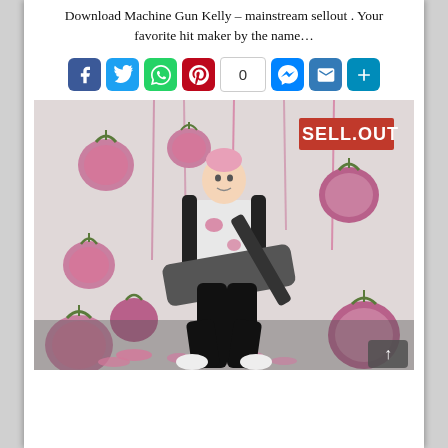Download Machine Gun Kelly – mainstream sellout . Your favorite hit maker by the name…
[Figure (other): Social media sharing buttons row: Facebook (blue), Twitter (blue), WhatsApp (green), Pinterest (red), share count box showing 0, Messenger (blue), Email (blue), More/Plus (blue)]
[Figure (photo): Machine Gun Kelly playing electric guitar against a white wall with pink/purple tomatoes flying around him, splattered pink paint on the wall, SELL.OUT text visible in upper right corner. He wears a white t-shirt and black jeans.]